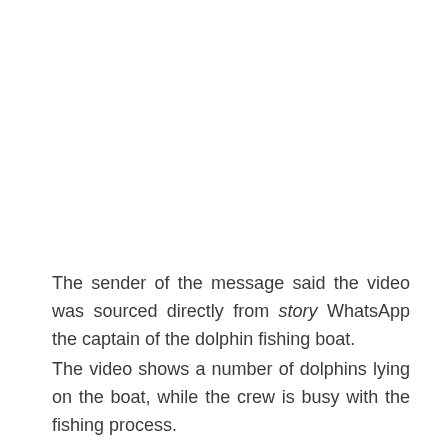The sender of the message said the video was sourced directly from story WhatsApp the captain of the dolphin fishing boat.
The video shows a number of dolphins lying on the boat, while the crew is busy with the fishing process.